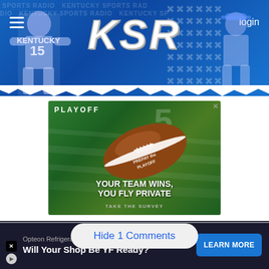KSR - Kentucky Sports Radio
[Figure (advertisement): KSR Kentucky Sports Radio header banner with blue background, basketball player in Kentucky #15 jersey on left, coach on right, KSR logo in center, menu icon on left, login text on right]
[Figure (advertisement): Playoff advertisement: green background with a football graphic, text reading PLAYOFF, YOUR TEAM WINS, YOU FLY PRIVATE, PREPAY the PLAYOFF, TAKE THE SURVEY]
Hide 1 Comments
[Figure (advertisement): Bottom ad bar: Opteon Refrigerants - Will Your Shop Be YF Ready? with LEARN MORE button]